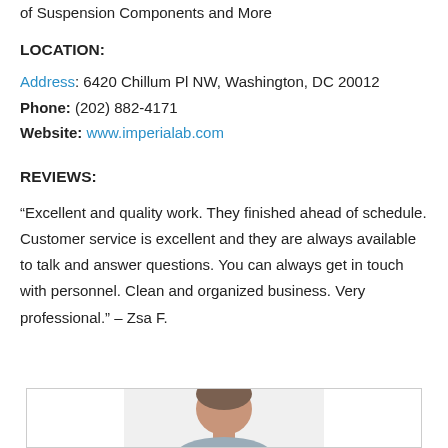of Suspension Components and More
LOCATION:
Address: 6420 Chillum Pl NW, Washington, DC 20012
Phone: (202) 882-4171
Website: www.imperialab.com
REVIEWS:
“Excellent and quality work. They finished ahead of schedule. Customer service is excellent and they are always available to talk and answer questions. You can always get in touch with personnel. Clean and organized business. Very professional.” – Zsa F.
[Figure (photo): A framed box at the bottom of the page containing a partial headshot photo of a person, cropped at the bottom edge of the page.]